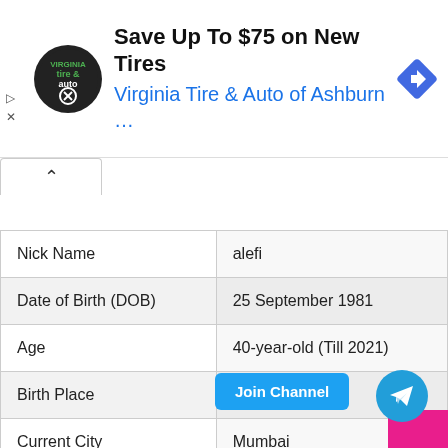[Figure (screenshot): Advertisement banner for Virginia Tire & Auto of Ashburn offering Save Up To $75 on New Tires]
| Field | Value |
| --- | --- |
| Nick Name | alefi |
| Date of Birth (DOB) | 25 September 1981 |
| Age | 40-year-old (Till 2021) |
| Birth Place | Mumbai |
| Current City | Mumbai |
| Nationality | Indian |
| School | The Alexandra Girls' English Institution, M... |
| College | Jai Hind College, Mumbai |